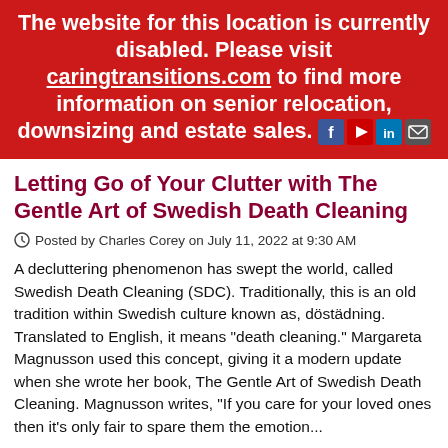The website for this location is currently disabled. Please visit caringtransitions.com to find more information on senior relocation, downsizing and estate sales.
Letting Go of Your Clutter with The Gentle Art of Swedish Death Cleaning
Posted by Charles Corey on July 11, 2022 at 9:30 AM
A decluttering phenomenon has swept the world, called Swedish Death Cleaning (SDC). Traditionally, this is an old tradition within Swedish culture known as, döstädning. Translated to English, it means "death cleaning." Margareta Magnusson used this concept, giving it a modern update when she wrote her book, The Gentle Art of Swedish Death Cleaning. Magnusson writes, "If you care for your loved ones then it's only fair to spare them the emotion...